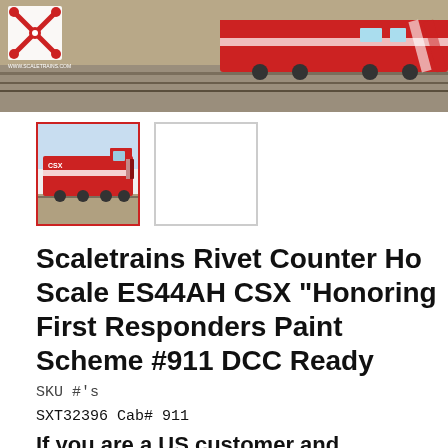[Figure (photo): Hero banner photo showing a red and white CSX locomotive on train tracks, with a railroad crossing logo in the upper left corner and small text www.scaletrains.com]
[Figure (photo): Thumbnail image (selected, red border) of a red CSX locomotive model, and a second blank/white thumbnail next to it]
Scaletrains Rivet Counter Ho Scale ES44AH CSX "Honoring First Responders Paint Scheme #911 DCC Ready
SKU #'s
SXT32396 Cab# 911
If you are a US customer and